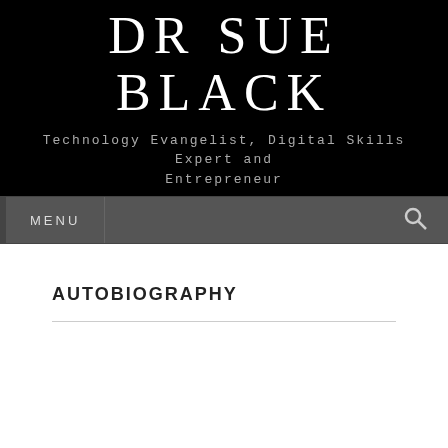DR SUE BLACK
Technology Evangelist, Digital Skills Expert and Entrepreneur
MENU
AUTOBIOGRAPHY